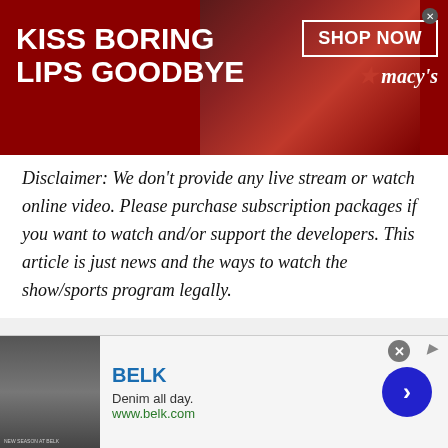[Figure (photo): Top advertisement banner for Macy's with dark red background, text 'KISS BORING LIPS GOODBYE' on left, woman's face with red lips in center, and 'SHOP NOW' button with Macy's star logo on right]
Disclaimer: We don't provide any live stream or watch online video. Please purchase subscription packages if you want to watch and/or support the developers. This article is just news and the ways to watch the show/sports program legally.
Zimbabwe vs Australia is the 6th T20 match of the Tri-Series involving Pakistan. The live streaming and how to watch live cricket match today online will be
[Figure (photo): Bottom advertisement banner for BELK showing denim clothing image on left, BELK title in blue, 'Denim all day.' subtitle, 'www.belk.com' URL in green, and blue circular arrow button on right]